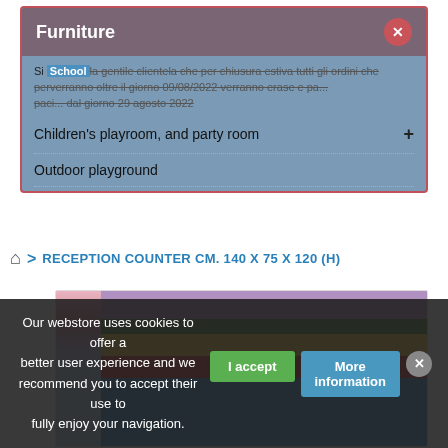Furniture
Si School la gentile clientela che per chiusura estiva tutti gli ordini che perverranno oltre il giorno 09/08/2022 verranno erase e pa...
Children's playroom, and party room
Outdoor playground
> RECEPTION COUNTER CM. 140 X 75 X 120 (H)
[Figure (photo): Colorful striped reception counter in a children's playroom setting]
Our webstore uses cookies to offer a better user experience and we recommend you to accept their use to fully enjoy your navigation.